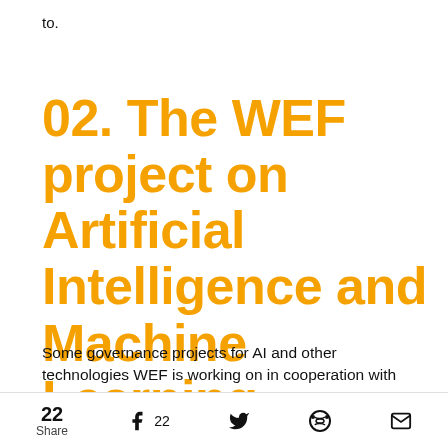to.
02. The WEF project on Artificial Intelligence and Machine Learning
Some governance projects for AI and other technologies WEF is working on in cooperation with governments, businesses and civil societies
22 Share  22  (social sharing icons)